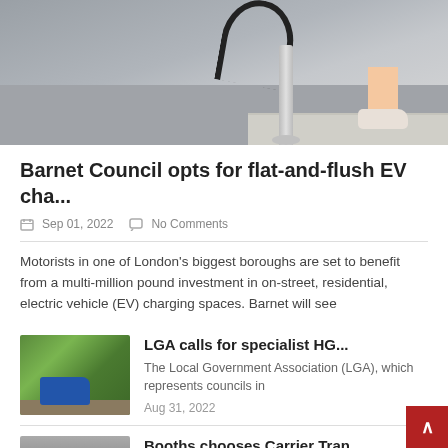[Figure (photo): EV charging station pole on a pavement with a person's legs visible in the background]
Barnet Council opts for flat-and-flush EV cha...
Sep 01, 2022   No Comments
Motorists in one of London's biggest boroughs are set to benefit from a multi-million pound investment in on-street, residential, electric vehicle (EV) charging spaces. Barnet will see
[Figure (photo): Vehicle on a rural road with green hedgerows]
LGA calls for specialist HG...
The Local Government Association (LGA), which represents councils in
Aug 31, 2022
[Figure (photo): Large truck or lorry parked near a building]
Booths chooses Carrier Tran...